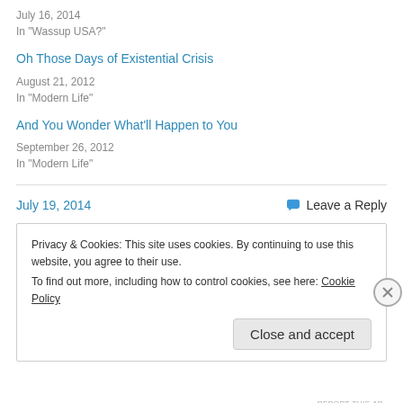July 16, 2014
In "Wassup USA?"
Oh Those Days of Existential Crisis
August 21, 2012
In "Modern Life"
And You Wonder What'll Happen to You
September 26, 2012
In "Modern Life"
July 19, 2014
Leave a Reply
Privacy & Cookies: This site uses cookies. By continuing to use this website, you agree to their use.
To find out more, including how to control cookies, see here: Cookie Policy
Close and accept